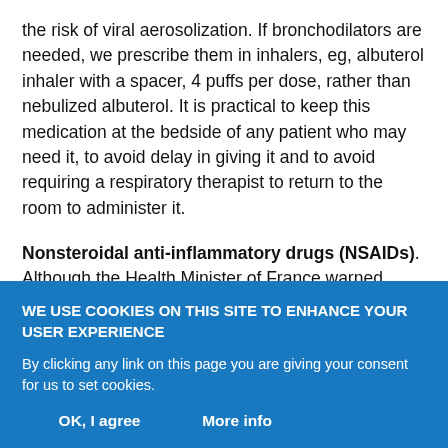the risk of viral aerosolization. If bronchodilators are needed, we prescribe them in inhalers, eg, albuterol inhaler with a spacer, 4 puffs per dose, rather than nebulized albuterol. It is practical to keep this medication at the bedside of any patient who may need it, to avoid delay in giving it and to avoid requiring a respiratory therapist to return to the room to administer it.
Nonsteroidal anti-inflammatory drugs (NSAIDs). Although the Health Minister of France warned against the use of NSAIDs due to an increased risk of severe adverse events,22 a World Health Organization review subsequently showed no adverse effects in this
WE USE COOKIES ON THIS SITE TO ENHANCE YOUR USER EXPERIENCE
By clicking any link on this page you are giving your consent for us to set cookies.